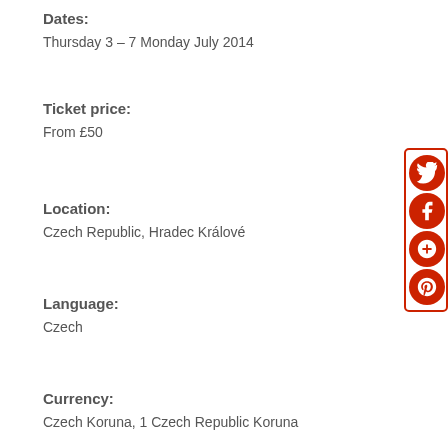Dates:
Thursday 3 – 7 Monday July 2014
Ticket price:
From £50
Location:
Czech Republic, Hradec Králové
Language:
Czech
Currency:
Czech Koruna, 1 Czech Republic Koruna